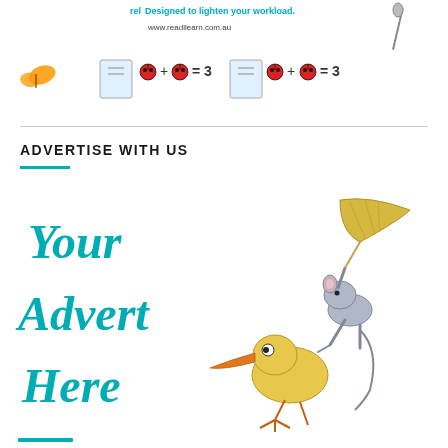[Figure (illustration): Readilearn educational banner with colorful icons, butterflies, ladybugs, books, and math equations. Text reads 'Designed to lighten your workload.' and URL www.readilearn.com.au]
ADVERTISE WITH US
[Figure (illustration): Cartoon advertisement placeholder image showing cartoon bird and rat/mouse characters with text 'Your Advert Here' in teal italic script font]